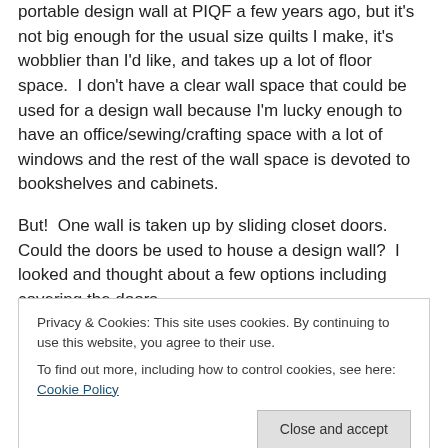portable design wall at PIQF a few years ago, but it's not big enough for the usual size quilts I make, it's wobblier than I'd like, and takes up a lot of floor space.  I don't have a clear wall space that could be used for a design wall because I'm lucky enough to have an office/sewing/crafting space with a lot of windows and the rest of the wall space is devoted to bookshelves and cabinets.

But!  One wall is taken up by sliding closet doors.  Could the doors be used to house a design wall?  I looked and thought about a few options including covering the doors
Privacy & Cookies: This site uses cookies. By continuing to use this website, you agree to their use.
To find out more, including how to control cookies, see here: Cookie Policy
[Figure (photo): Partial view of a colorful quilt or fabric arrangement at the bottom of the page]